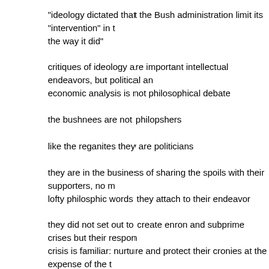"ideology dictated that the Bush administration limit its "intervention" in the way it did"
critiques of ideology are important intellectual endeavors, but political and economic analysis is not philosophical debate
the bushnees are not philopshers
like the reganites they are politicians
they are in the business of sharing the spoils with their supporters, no matter what lofty philosphic words they attach to their endeavor
they did not set out to create enron and subprime crises but their response to each crisis is familiar: nurture and protect their cronies at the expense of the taxpayer
while reganites ran up large deficits dispensing monies to their cronies, bushees have far surpassed their expectations
bushess have not only looted more money but they have shared the spoils with supporters in more industries, the financial industry will have gotten even more than the defense industry
until i see evidence to the contrary, i suspect the timing of the bushee response to the crisis was a calculated political act with bush and paulson playing ou